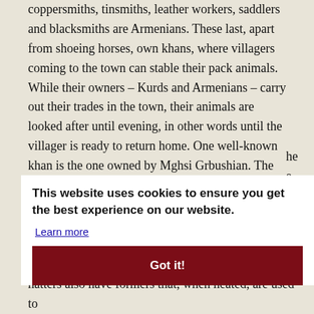coppersmiths, tinsmiths, leather workers, saddlers and blacksmiths are Armenians. These last, apart from shoeing horses, own khans, where villagers coming to the town can stable their pack animals. While their owners – Kurds and Armenians – carry out their trades in the town, their animals are looked after until evening, in other words until the villager is ready to return home. One well-known khan is the one owned by Mghsi Grbushian. The blacksmiths of the town are also involved with breeding animals. [21]
he e the the ole
This website uses cookies to ensure you get the best experience on our website.
Learn more
Got it!
hatters also have formers that, when heated, are used to